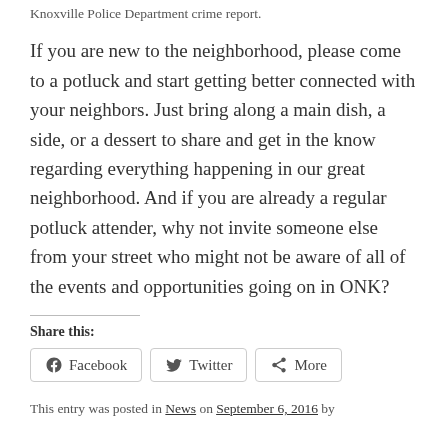Knoxville Police Department crime report.
If you are new to the neighborhood, please come to a potluck and start getting better connected with your neighbors. Just bring along a main dish, a side, or a dessert to share and get in the know regarding everything happening in our great neighborhood. And if you are already a regular potluck attender, why not invite someone else from your street who might not be aware of all of the events and opportunities going on in ONK?
Share this:
Facebook  Twitter  More
This entry was posted in News on September 6, 2016 by